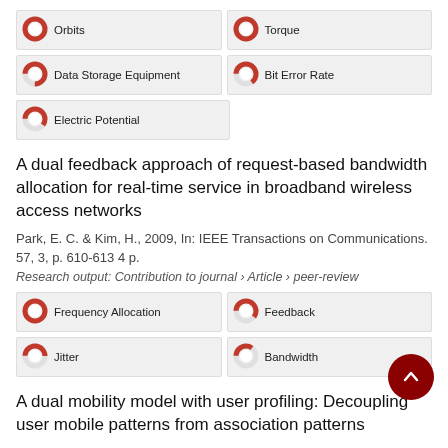[Figure (infographic): Keyword badges with donut chart icons: Orbits (100%), Torque (100%), Data Storage Equipment (75%), Bit Error Rate (65%), Electric Potential (60%)]
A dual feedback approach of request-based bandwidth allocation for real-time service in broadband wireless access networks
Park, E. C. & Kim, H., 2009, In: IEEE Transactions on Communications. 57, 3, p. 610-613 4 p.
Research output: Contribution to journal › Article › peer-review
[Figure (infographic): Keyword badges with donut chart icons: Frequency Allocation (100%), Feedback (60%), Jitter (50%), Bandwidth (35%)]
A dual mobility model with user profiling: Decoupling user mobile patterns from association patterns